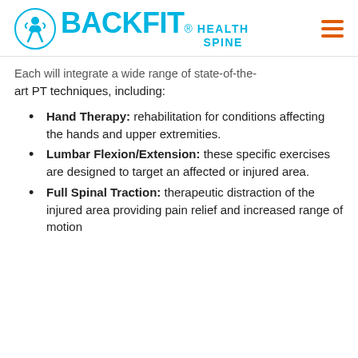BACKFIT HEALTH SPINE
Each will integrate a wide range of state-of-the-art PT techniques, including:
Hand Therapy: rehabilitation for conditions affecting the hands and upper extremities.
Lumbar Flexion/Extension: these specific exercises are designed to target an affected or injured area.
Full Spinal Traction: therapeutic distraction of the injured area providing pain relief and increased range of motion